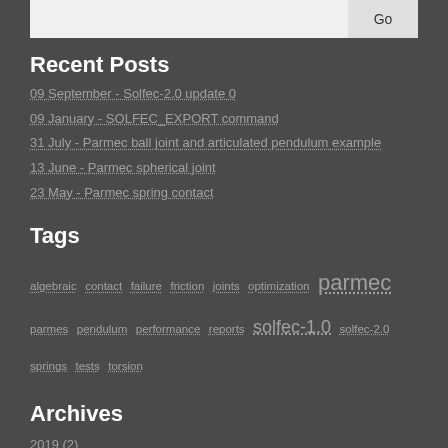Recent Posts
09 September - Solfec-2.0 update 0
09 January - SOLFEC_EXPORT command
31 July - Parmec ball joint and articulated pendulum example
13 June - Parmec spherical joint
23 May - Parmec spring contact
Tags
algebraic contact failure friction joints optimization parmec parmes pendulum performance reports solfec-1.0 solfec-2.0 springs tests torsion
Archives
2019 (2)
2018 (5)
2017 (4)
2016 (1)